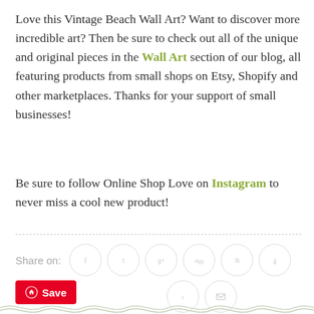Love this Vintage Beach Wall Art? Want to discover more incredible art? Then be sure to check out all of the unique and original pieces in the Wall Art section of our blog, all featuring products from small shops on Etsy, Shopify and other marketplaces. Thanks for your support of small businesses!
Be sure to follow Online Shop Love on Instagram to never miss a cool new product!
[Figure (infographic): Share on social media buttons row: Facebook, Twitter, Google+, Digg, Reddit, StumbleUpon circles, plus a Pinterest Save button, Tumblr and Email circles]